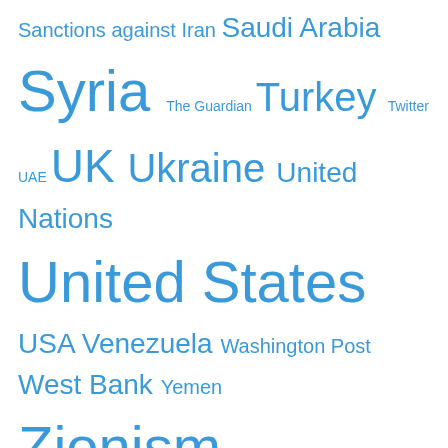Sanctions against Iran Saudi Arabia Syria The Guardian Turkey Twitter UAE UK Ukraine United Nations United States USA Venezuela Washington Post West Bank Yemen Zionism
Recent Comments
brianharryaustralia on Fauci is Now Performing Gain-o…
brianharryaustralia on Americans increasingly see FBI…
papasha408 on Fauci is Now Performing Gain-o…
roberthstiver on Americans increasingly see FBI…
Ant Lovato on The Jewish Hand in World War T…